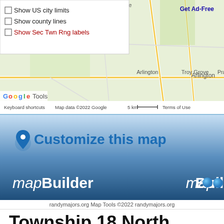[Figure (screenshot): Google Maps screenshot showing Illinois area with township overlay. Overlay panel shows checkboxes: 'Show US city limits', 'Show county lines', 'Show Sec Twn Rng labels'. Map labels show Arlington, Troy Grove, Prairie Ce. Bottom bar shows 'Keyboard shortcuts', 'Map data ©2022 Google', '5 km scale', 'Terms of Use'. Top right shows 'Get Ad-Free' link.]
[Figure (screenshot): mapBuilder banner with blue gradient background. Top left shows blue location pin icon and 'Customize this map' in blue text. Bottom right shows 'mapBuilder' in white italic/bold text with a blue circle dot.]
randymajors.org Map Tools ©2022 randymajors.org
Township 18 North, Range 11 East, 4th Principal Meridian, Illinois
View Township 18 North,